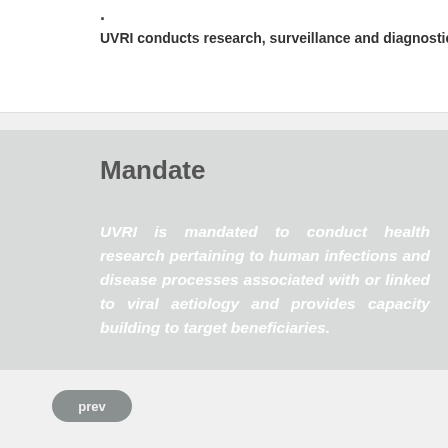UVRI conducts research, surveillance and diagnostics. The I
Mandate
UVRI is mandated to conduct health research pertaining to human infections and disease processes associated with or linked to viral aetiology and provides capacity building to target beneficiaries.
prev